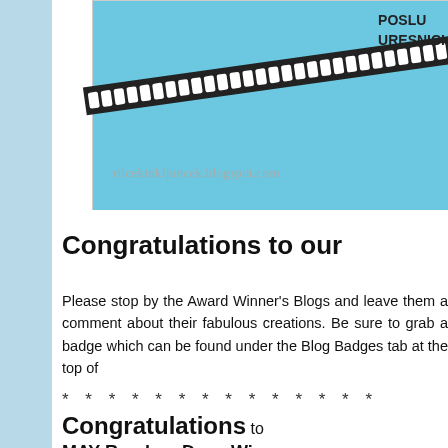[Figure (illustration): Partial image showing a light blue background with a diagonal black film strip with white rectangular holes, and partial text 'POSLU' and 'URESNICI' visible at top right. Blog URL 'rilcekinkljuncek.blogspot.com' visible at bottom of image.]
Congratulations to our
Please stop by the Award Winner's Blogs and leave them a comment about their fabulous creations. Be sure to grab a badge which can be found under the Blog Badges tab at the top of
* * * * * * * * * * * * * *
Congratulations to
MAY Random Draw Winn